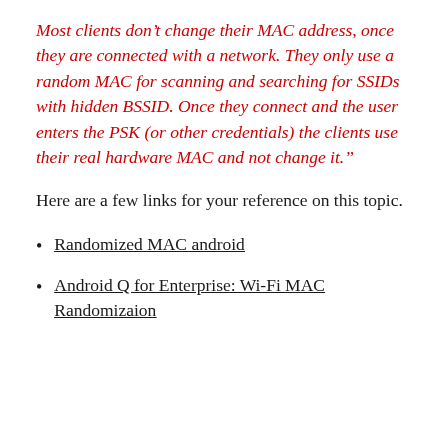Most clients don't change their MAC address, once they are connected with a network. They only use a random MAC for scanning and searching for SSIDs with hidden BSSID. Once they connect and the user enters the PSK (or other credentials) the clients use their real hardware MAC and not change it."
Here are a few links for your reference on this topic.
Randomized MAC android
Android Q for Enterprise: Wi-Fi MAC Randomizaion